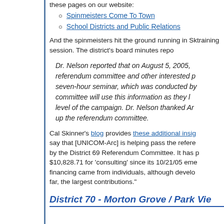these pages on our website:
Spinmeisters Come To Town
School Districts and Public Relations
And the spinmeisters hit the ground running in Sk... training session. The district's board minutes repo...
Dr. Nelson reported that on August 5, 2005, ... referendum committee and other interested p... seven-hour seminar, which was conducted by... committee will use this information as they l... level of the campaign. Dr. Nelson thanked Ar... up the referendum committee.
Cal Skinner's blog provides these additional insig... say that [UNICOM-Arc] is helping pass the refere... by the District 69 Referendum Committee. It has p... $10,828.71 for 'consulting' since its 10/21/05 eme... financing came from individuals, although develo... far, the largest contributions."
District 70 - Morton Grove / Park View